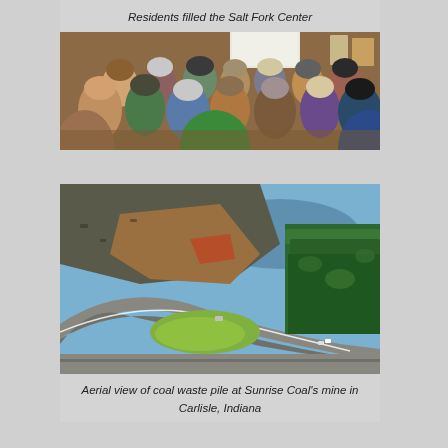[Figure (photo): Indoor photo of a large crowd of people seated in a wooden hall or center, facing a projection screen at the front. Ceiling fans visible. People from behind.]
Residents filled the Salt Fork Center
[Figure (photo): Aerial view of a coal waste pile at a mine site with winding roads, a greenish pond, dark coal waste, and a treeline visible in Carlisle, Indiana.]
Aerial view of coal waste pile at Sunrise Coal's mine in Carlisle, Indiana